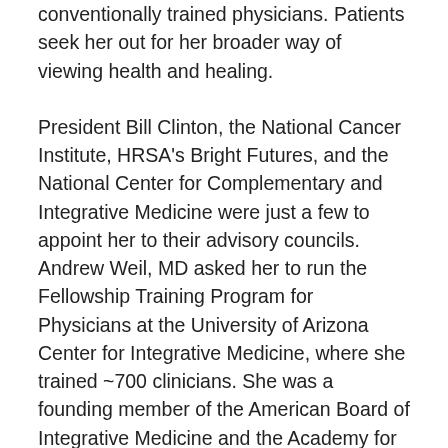conventionally trained physicians. Patients seek her out for her broader way of viewing health and healing.
President Bill Clinton, the National Cancer Institute, HRSA's Bright Futures, and the National Center for Complementary and Integrative Medicine were just a few to appoint her to their advisory councils. Andrew Weil, MD asked her to run the Fellowship Training Program for Physicians at the University of Arizona Center for Integrative Medicine, where she trained ~700 clinicians. She was a founding member of the American Board of Integrative Medicine and the Academy for Women's Health.
Dr. Low Dog is one of the foremost experts in the United States on the safe and appropriate use of botanical remedies and dietary supplements. She has overseen the evaluation panel for supplement/botanical safety at the United States Pharmacopeia, including joint reviews with the Department of Defense, for the past twenty